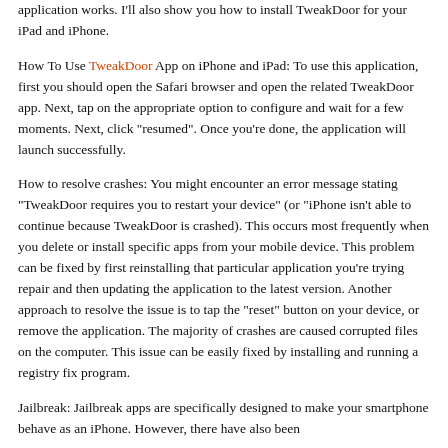application works. I'll also show you how to install TweakDoor for your iPad and iPhone.
How To Use TweakDoor App on iPhone and iPad: To use this application, first you should open the Safari browser and open the related TweakDoor app. Next, tap on the appropriate option to configure and wait for a few moments. Next, click "resumed". Once you're done, the application will launch successfully.
How to resolve crashes: You might encounter an error message stating "TweakDoor requires you to restart your device" (or "iPhone isn't able to continue because TweakDoor is crashed). This occurs most frequently when you delete or install specific apps from your mobile device. This problem can be fixed by first reinstalling that particular application you're trying repair and then updating the application to the latest version. Another approach to resolve the issue is to tap the "reset" button on your device, or remove the application. The majority of crashes are caused corrupted files on the computer. This issue can be easily fixed by installing and running a registry fix program.
Jailbreak: Jailbreak apps are specifically designed to make your smartphone behave as an iPhone. However, there have also been